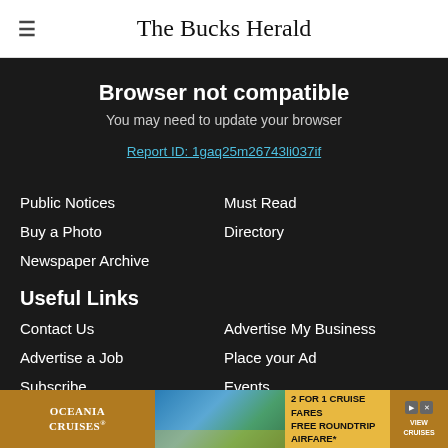The Bucks Herald
Browser not compatible
You may need to update your browser
Report ID: 1gaq25m26743li037if
Public Notices
Must Read
Buy a Photo
Directory
Newspaper Archive
Useful Links
Contact Us
Advertise My Business
Advertise a Job
Place your Ad
Subscribe
Events
Newsletter
Archive
Reader...
[Figure (screenshot): Oceania Cruises advertisement banner: 2 FOR 1 CRUISE FARES, FREE ROUNDTRIP AIRFARE*, VIEW CRUISES button]